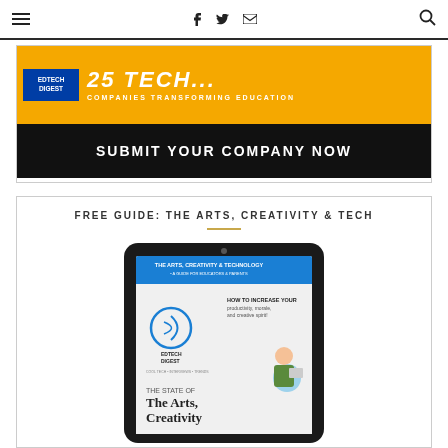≡  f  𝕏  ✉  🔍
[Figure (screenshot): EdTech Digest banner ad. Orange top section with EdTech Digest blue badge logo and italic text '25 TECH...' with subtitle 'COMPANIES TRANSFORMING EDUCATION'. Black bottom section with bold white text 'SUBMIT YOUR COMPANY NOW'.]
FREE GUIDE: THE ARTS, CREATIVITY & TECH
[Figure (screenshot): Tablet device showing EdTech Digest guide cover: 'THE ARTS, CREATIVITY & TECHNOLOGY — A GUIDE FOR EDUCATORS & PARENTS'. Blue header bar, EdTech Digest logo on left, text 'HOW TO INCREASE YOUR productivity, morale, and creative spirit!' and large heading 'THE STATE OF The Arts, Creativity...' with illustrated character holding tablet.]